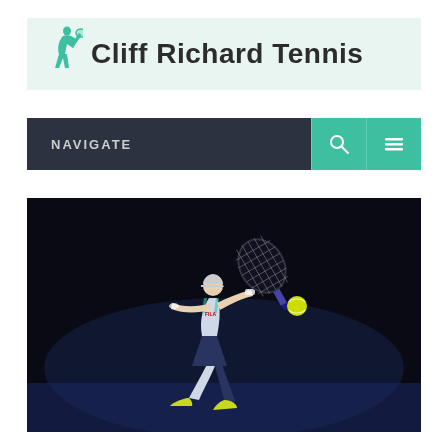[Figure (logo): Cliff Richard Tennis logo banner with teal tennis player silhouette icon and bold text on light mint background]
[Figure (screenshot): Dark navigation bar with 'NAVIGATE' label in grey lettering and two teal buttons with search and menu icons]
[Figure (photo): Female tennis player (Ashleigh Barty) in white FILA outfit hitting a forehand shot on a dark court, with yellow tennis ball visible]